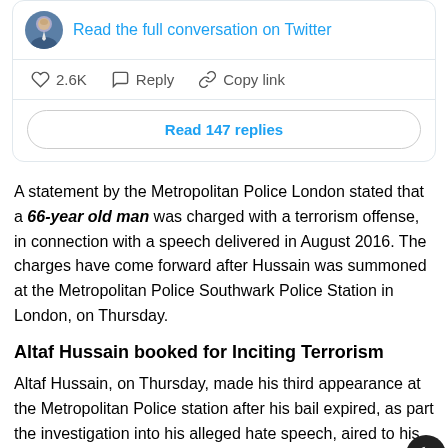[Figure (screenshot): Twitter/X card with avatar, 'Read the full conversation on Twitter' link, action bar with heart (2.6K), Reply, Copy link, and a 'Read 147 replies' button]
A statement by the Metropolitan Police London stated that a 66-year old man was charged with a terrorism offense, in connection with a speech delivered in August 2016. The charges have come forward after Hussain was summoned at the Metropolitan Police Southwark Police Station in London, on Thursday.
Altaf Hussain booked for Inciting Terrorism
Altaf Hussain, on Thursday, made his third appearance at the Metropolitan Police station after his bail expired, as part the investigation into his alleged hate speech, aired to his followers in Pakistan.